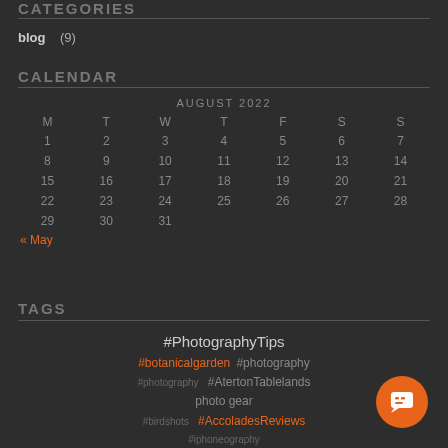CATEGORIES
blog   (9)
CALENDAR
| M | T | W | T | F | S | S |
| --- | --- | --- | --- | --- | --- | --- |
| 1 | 2 | 3 | 4 | 5 | 6 | 7 |
| 8 | 9 | 10 | 11 | 12 | 13 | 14 |
| 15 | 16 | 17 | 18 | 19 | 20 | 21 |
| 22 | 23 | 24 | 25 | 26 | 27 | 28 |
| 29 | 30 | 31 |  |  |  |  |
« May
TAGS
#PhotographyTips #botanicalgarden #photography #AtertonTablelands photo gear #birdshots #AccoladesReviews #iphoneography